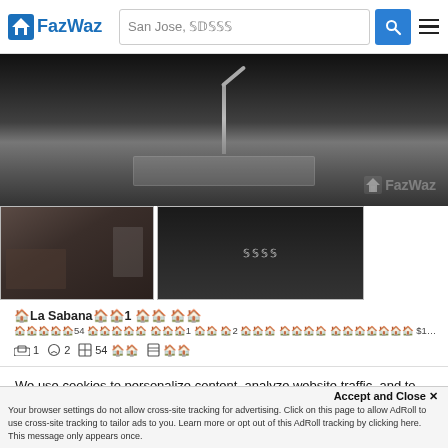FazWaz | San Jose, 𝕊𝔻𝕊𝕊𝕊
[Figure (photo): Main property kitchen photo with FazWaz watermark]
[Figure (photo): Two property thumbnail images side by side]
🏠La Sabana🏠🏠1 🏠🏠 🏠🏠
🏠🏠🏠🏠🏠54 🏠🏠🏠🏠🏠 🏠🏠🏠1 🏠🏠 🏠2 🏠🏠🏠 🏠🏠🏠🏠 🏠🏠🏠🏠🏠🏠🏠 $135,000 ($2,500/SqM) 🏠🏠🏠🏠🏠🏠 🏠
🛏 1  🚿 2  ⊞ 54 🏠🏠  🏢 🏠🏠
We use cookies to personalize content, analyze website traffic, and to improve user experience. By using the website, you agree to the use of cookies to collect information on and off FazWaz. Please read our Privacy Policy for full details.
Accept and Close ✕
Your browser settings do not allow cross-site tracking for advertising. Click on this page to allow AdRoll to use cross-site tracking to tailor ads to you. Learn more or opt out of this AdRoll tracking by clicking here. This message only appears once.